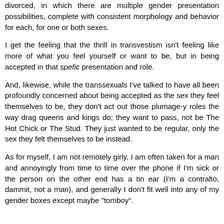divorced, in which there are multiple gender presentation possibilities, complete with consistent morphology and behavior for each, for one or both sexes.
I get the feeling that the thrill in transvestism isn't feeling like more of what you feel yourself or want to be, but in being accepted in that spefic presentation and role.
And, likewise, while the transsexuals I've talked to have all been profoundly concerned about being accepted as the sex they feel themselves to be, they don't act out those plumage-y roles the way drag queens and kings do; they want to pass, not be The Hot Chick or The Stud. They just wanted to be regular, only the sex they felt themselves to be instead.
As for myself, I am not remotely girly, I am often taken for a man and annoyingly from time to time over the phone if I'm sick or the person on the other end has a tin ear (I'm a contralto, dammit, not a man), and generally I don't fit well into any of my gender boxes except maybe "tomboy".